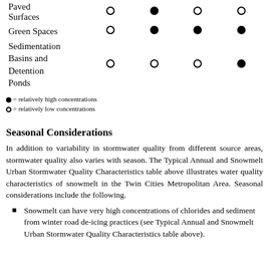| Source Area | Col1 | Col2 | Col3 | Col4 |
| --- | --- | --- | --- | --- |
| Paved Surfaces | ○ | ● | ○ | ○ |
| Green Spaces | ○ | ● | ● | ● |
| Sedimentation Basins and Detention Ponds | ○ | ○ | ○ | ● |
● = relatively high concentrations
○ = relatively low concentrations
Seasonal Considerations
In addition to variability in stormwater quality from different source areas, stormwater quality also varies with season. The Typical Annual and Snowmelt Urban Stormwater Quality Characteristics table above illustrates water quality characteristics of snowmelt in the Twin Cities Metropolitan Area. Seasonal considerations include the following.
Snowmelt can have very high concentrations of chlorides and sediment from winter road de-icing practices (see Typical Annual and Snowmelt Urban Stormwater Quality Characteristics table above).